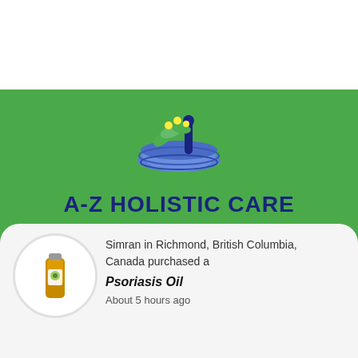[Figure (logo): A-Z Holistic Care logo: mortar and pestle bowl in blue/navy with green leaves and yellow flower dots above, styled in blue tones]
A-Z HOLISTIC CARE
Your health is our top priority
Ayurvedic & Herbal Supplement Store.
Quick li...
[Figure (photo): Product bottle image (amber/orange dropper bottle with label showing herbal product) inside a white circle]
Simran in Richmond, British Columbia, Canada purchased a
Psoriasis Oil
About 5 hours ago